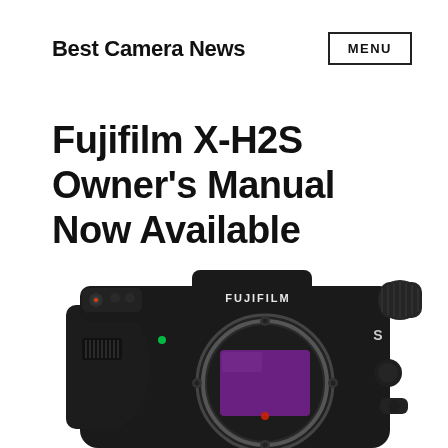Best Camera News
Fujifilm X-H2S Owner's Manual Now Available
[Figure (photo): Fujifilm X-H2S mirrorless camera body, front view, showing sensor, FUJIFILM branding on top plate, and 'S' designation, on white background]